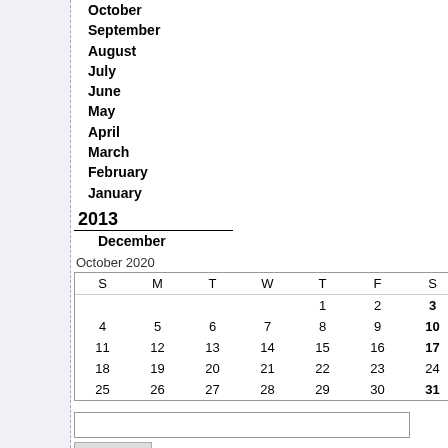October
September
August
July
June
May
April
March
February
January
2013
December
| S | M | T | W | T | F | S |
| --- | --- | --- | --- | --- | --- | --- |
|  |  |  |  | 1 | 2 | 3 |
| 4 | 5 | 6 | 7 | 8 | 9 | 10 |
| 11 | 12 | 13 | 14 | 15 | 16 | 17 |
| 18 | 19 | 20 | 21 | 22 | 23 | 24 |
| 25 | 26 | 27 | 28 | 29 | 30 | 31 |
Search
Syndication
[Figure (logo): RSS 2.0 badge in orange]